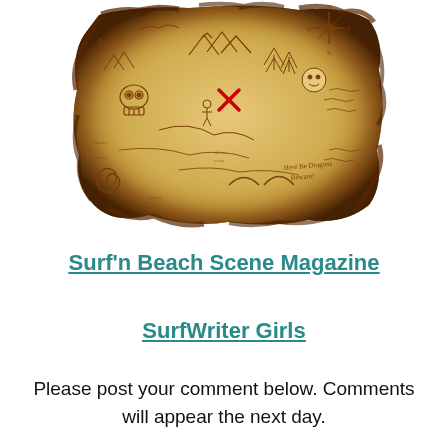[Figure (illustration): An aged, burnt-edged treasure map with drawings of mountains, a skull, trees, a compass rose, a red X marking treasure location, swirl in bottom-left corner, and handwritten text reading 'Here Be Dragons Beware!']
Surf'n Beach Scene Magazine
SurfWriter Girls
Please post your comment below. Comments will appear the next day.